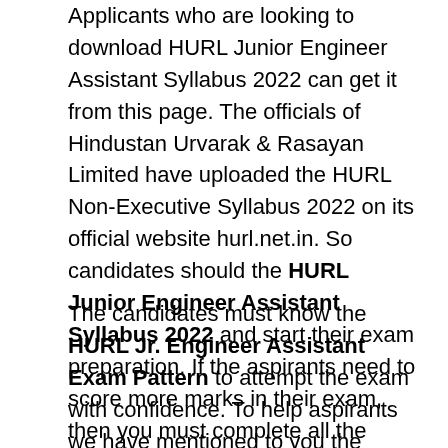Applicants who are looking to download HURL Junior Engineer Assistant Syllabus 2022 can get it from this page. The officials of Hindustan Urvarak & Rasayan Limited have uploaded the HURL Non-Executive Syllabus 2022 on its official website hurl.net.in. So candidates should the HURL Junior Engineer Assistant Syllabus 2022 and start their exam preparation. If the aspirants need to score more marks in their exam, then you must complete all the syllabus and should prepare well for the exam.
The candidates must know the HURL Jr. Engineer Assistant Exam Pattern to attempt the exam with confidence. To help aspirants we have mentioned to you the HURL Non Executive Syllabus and exam pattern in a very detailed manner. Many of the